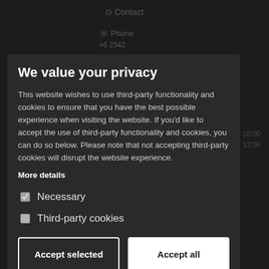We value your privacy
This website wishes to use third-party functionality and cookies to ensure that you have the best possible experience when visiting the website. If you'd like to accept the use of third-party functionality and cookies, you can do so below. Please note that not accepting third-party cookies will disrupt the website experience.
More details
☑ Necessary
☐ Third-party cookies
Accept selected | Accept all